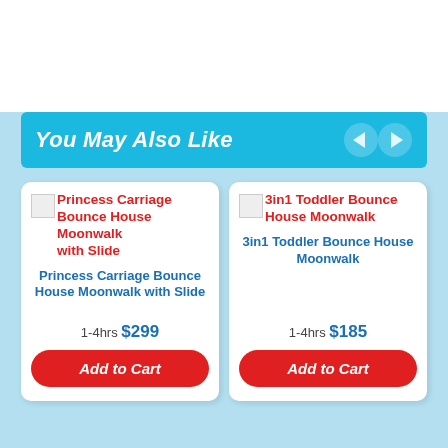You May Also Like
[Figure (screenshot): Product card: Princess Carriage Bounce House Moonwalk with Slide, 1-4hrs $299, Add to Cart button]
[Figure (screenshot): Product card: 3in1 Toddler Bounce House Moonwalk, 1-4hrs $185, Add to Cart button]